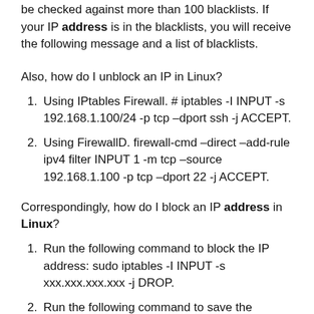be checked against more than 100 blacklists. If your IP address is in the blacklists, you will receive the following message and a list of blacklists.
Also, how do I unblock an IP in Linux?
1. Using IPtables Firewall. # iptables -I INPUT -s 192.168.1.100/24 -p tcp –dport ssh -j ACCEPT.
2. Using FirewallD. firewall-cmd –direct –add-rule ipv4 filter INPUT 1 -m tcp –source 192.168.1.100 -p tcp –dport 22 -j ACCEPT.
Correspondingly, how do I block an IP address in Linux?
1. Run the following command to block the IP address: sudo iptables -I INPUT -s xxx.xxx.xxx.xxx -j DROP.
2. Run the following command to save the settings. The settings persist after the server reboots. sudo service